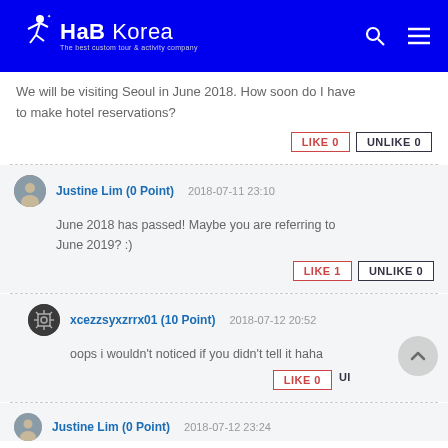[Figure (logo): HaB Korea logo - white figure jumping, text HaB Korea with tagline, on blue background header with search and menu icons]
We will be visiting Seoul in June 2018. How soon do I have to make hotel reservations?
LIKE 0  UNLIKE 0
Justine Lim (0 Point)  2018-07-11 23:10
June 2018 has passed! Maybe you are referring to June 2019? :)
LIKE 1  UNLIKE 0
xcezzsyxzrrx01 (10 Point)  2018-07-12 20:52
oops i wouldn't noticed if you didn't tell it haha
LIKE 0  UNLIKE 0
Justine Lim (0 Point)  2018-07-12 23:24